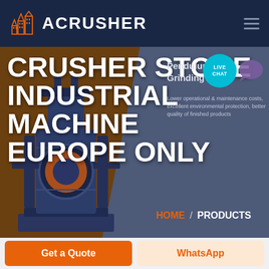ACRUSHER
CRUSHER STONE INDUSTRIAL MACHINE EUROPE ONLY
Pendulum Roller Grinding Mill
Lower operational & maintenance costs, excellent environmental protection, better quality of finished products
LIVE CHAT
HOME / PRODUCTS
[Figure (screenshot): Industrial crusher/grinding machine shown in dark blue and orange colors]
Get a Quote
WhatsApp